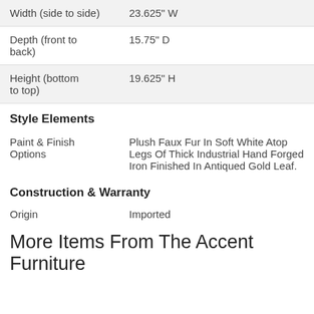| Attribute | Value |
| --- | --- |
| Width (side to side) | 23.625" W |
| Depth (front to back) | 15.75" D |
| Height (bottom to top) | 19.625" H |
Style Elements
| Attribute | Value |
| --- | --- |
| Paint & Finish Options | Plush Faux Fur In Soft White Atop Legs Of Thick Industrial Hand Forged Iron Finished In Antiqued Gold Leaf. |
Construction & Warranty
| Attribute | Value |
| --- | --- |
| Origin | Imported |
More Items From The Accent Furniture